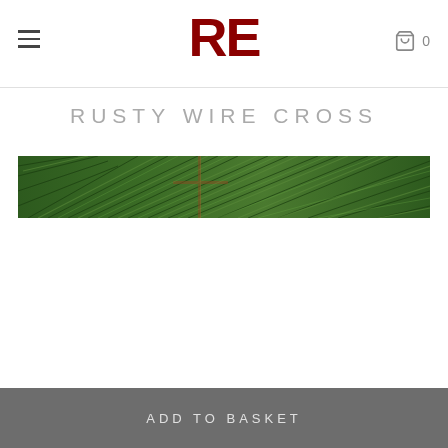RE
RUSTY WIRE CROSS
[Figure (photo): Close-up photograph of green pine needles with rusty wire detail, used as product image for Rusty Wire Cross]
ADD TO BASKET